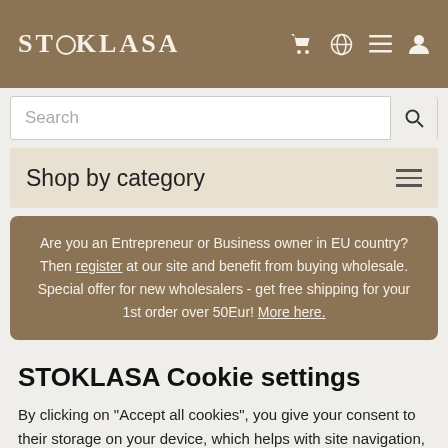STOKLASA
Search
Shop by category
Are you an Entrepreneur or Business owner in EU country? Then register at our site and benefit from buying wholesale. Special offer for new wholesalers - get free shipping for your 1st order over 50Eur! More here.
STOKLASA Cookie settings
By clicking on "Accept all cookies", you give your consent to their storage on your device, which helps with site navigation, data usage analysis and our marketing efforts.
Cookie settings  Accept all cookies